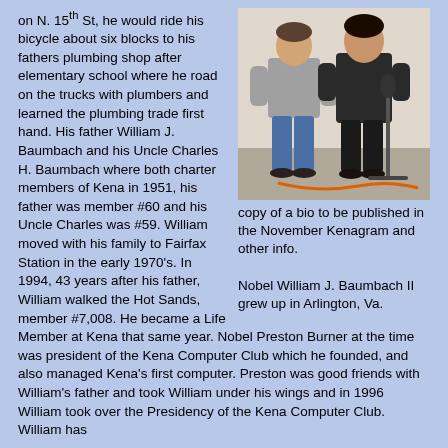[Figure (photo): Two people standing together indoors, one in jeans and grey top, another in dark clothing, with a microphone stand visible]
copy of a bio to be published in the November Kenagram and other info.

Nobel William J. Baumbach II grew up in Arlington, Va. on N. 15th St, he would ride his bicycle about six blocks to his fathers plumbing shop after elementary school where he road on the trucks with plumbers and learned the plumbing trade first hand. His father William J. Baumbach and his Uncle Charles H. Baumbach where both charter members of Kena in 1951, his father was member #60 and his Uncle Charles was #59. William moved with his family to Fairfax Station in the early 1970's. In 1994, 43 years after his father, William walked the Hot Sands, member #7,008. He became a Life Member at Kena that same year. Nobel Preston Burner at the time was president of the Kena Computer Club which he founded, and also managed Kena's first computer. Preston was good friends with William's father and took William under his wings and in 1996 William took over the Presidency of the Kena Computer Club. William has